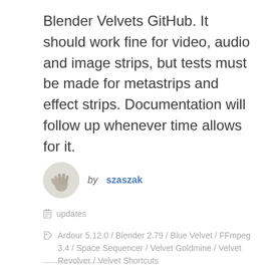Blender Velvets GitHub. It should work fine for video, audio and image strips, but tests must be made for metastrips and effect strips. Documentation will follow up whenever time allows for it.
by szaszak
updates
Ardour 5.12.0 / Blender 2.79 / Blue Velvet / FFmpeg 3.4 / Space Sequencer / Velvet Goldmine / Velvet Revolver / Velvet Shortcuts